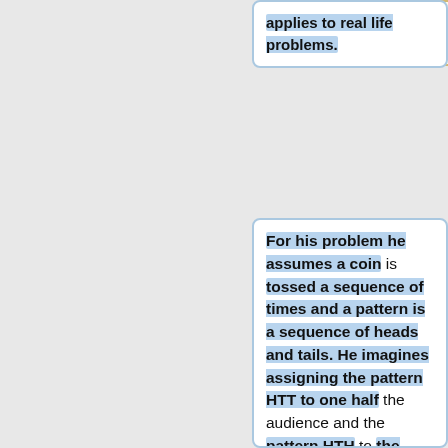same as the method to solve real life problems.  <br>
applies to real life problems.
For his problem he assumes a coin is tossed a sequence of times and a pattern is a sequence of heads and tails. He imagines assigning the pattern HTT to one half the audience and the pattern HTH to the other half.  He then imagines tossing the coin